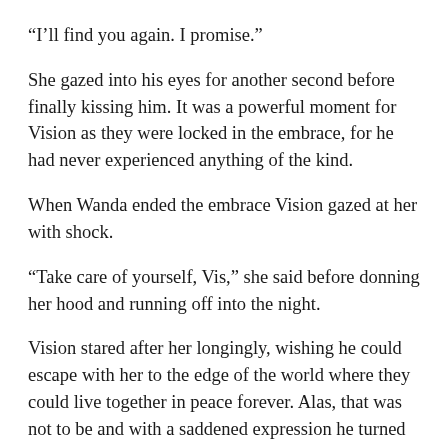“I’ll find you again. I promise.”
She gazed into his eyes for another second before finally kissing him. It was a powerful moment for Vision as they were locked in the embrace, for he had never experienced anything of the kind.
When Wanda ended the embrace Vision gazed at her with shock.
“Take care of yourself, Vis,” she said before donning her hood and running off into the night.
Vision stared after her longingly, wishing he could escape with her to the edge of the world where they could live together in peace forever. Alas, that was not to be and with a saddened expression he turned and flew through the sky, heading back to the Deputy Task Force base in Berlin.